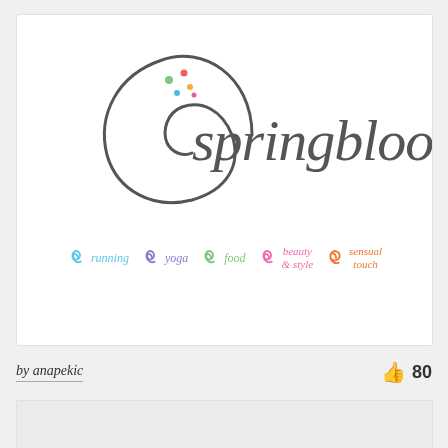[Figure (logo): Springbloom logo with swirl decoration and colored dots, with category icons below: running, yoga, food, beauty & style, sensual touch]
by anapekic
80